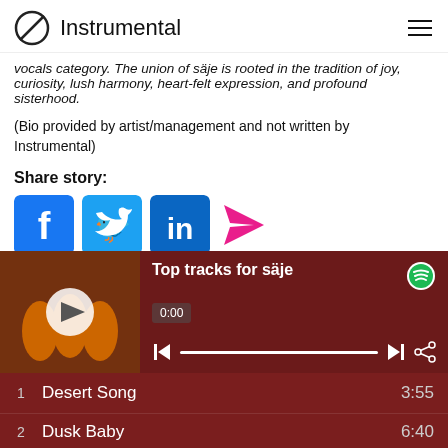Instrumental
vocals category. The union of säje is rooted in the tradition of joy, curiosity, lush harmony, heart-felt expression, and profound sisterhood.
(Bio provided by artist/management and not written by Instrumental)
Share story:
[Figure (infographic): Social sharing icons: Facebook, Twitter, LinkedIn, and a pink send/share arrow icon]
[Figure (screenshot): Spotify music player widget showing 'Top tracks for säje' with album art, play controls, progress bar at 0:00, and track list including 'Desert Song' (3:55) and 'Dusk Baby' (6:40)]